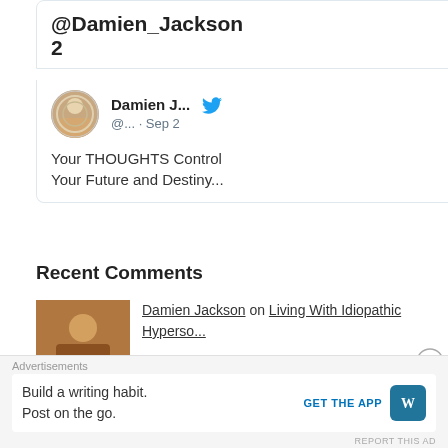@Damien_Jackson
2
[Figure (screenshot): Twitter/X embedded tweet card showing Damien J... (@...) posted Sep 2: 'Your THOUGHTS Control Your Future and Destiny...']
Recent Comments
Damien Jackson on Living With Idiopathic Hyperso...
Erica on Living With Idiopathic Hyperso...
Damien Jackson on Food For Thought:  Homicide Ra...
Advertisements
Build a writing habit. Post on the go.
GET THE APP
REPORT THIS AD